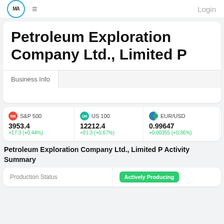MA  ≡  Login
Petroleum Exploration Company Ltd., Limited P
Business Info
S&P 500  3953.4  +17.3 (+0.44%)  |  US 100  12212.4  +81.3 (+0.67%)  |  EUR/USD  0.99647  +0.00355 (+0.36%)  |  TV  20  +29
Petroleum Exploration Company Ltd., Limited P Activity Summary
| Production Status |  |
| --- | --- |
| Production Status | Actively Producing |